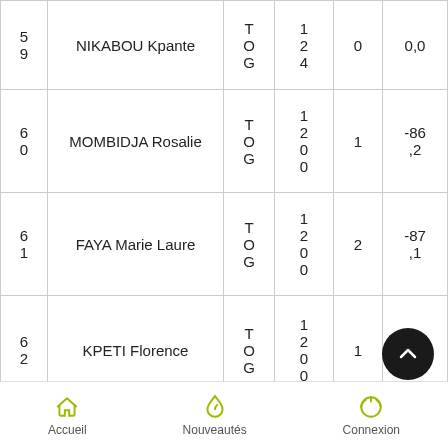| # | Name | Country | Year | Rank | Score |
| --- | --- | --- | --- | --- | --- |
| 5
9 | NIKABOU Kpante | TOG | 1
2
4 | 0 | 0,0 |
| 6
0 | MOMBIDJA Rosalie | TOG | 1
2
0
0 | 1 | -86,2 |
| 6
1 | FAYA Marie Laure | TOG | 1
2
0
0 | 2 | -87,1 |
| 6
2 | KPETI Florence | TOG | 1
2
0
0 | 1 | -87,6 |
Accueil | Nouveautés | Connexion